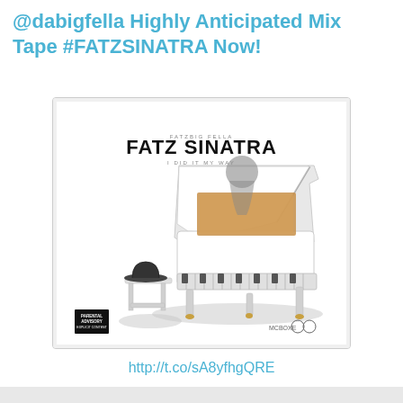@dabigfella Highly Anticipated Mix Tape #FATZSINATRA Now!
[Figure (illustration): Album cover art for 'Fatz Sinatra' mixtape showing a white grand piano with a small stool/bench with a bowler hat on it, against a white background. The text 'FATZ SINATRA' is prominently displayed at the top in bold black font, with 'I DID IT MY WAY' as a subtitle. A Parental Advisory label is in the bottom left corner.]
http://t.co/sA8yfhgQRE